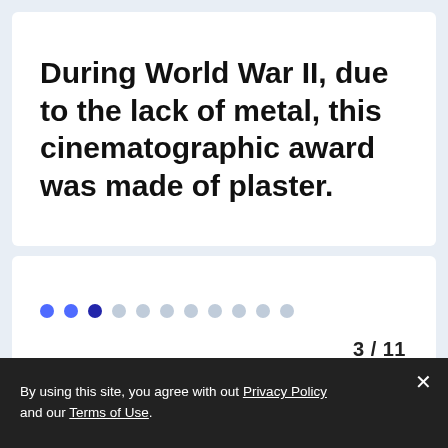During World War II, due to the lack of metal, this cinematographic award was made of plaster.
3 / 11
By using this site, you agree with out Privacy Policy and our Terms of Use.